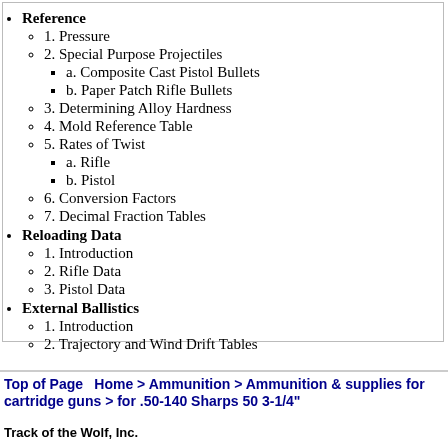Reference
1. Pressure
2. Special Purpose Projectiles
a. Composite Cast Pistol Bullets
b. Paper Patch Rifle Bullets
3. Determining Alloy Hardness
4. Mold Reference Table
5. Rates of Twist
a. Rifle
b. Pistol
6. Conversion Factors
7. Decimal Fraction Tables
Reloading Data
1. Introduction
2. Rifle Data
3. Pistol Data
External Ballistics
1. Introduction
2. Trajectory and Wind Drift Tables
Top of Page   Home > Ammunition > Ammunition & supplies for cartridge guns > for .50-140 Sharps 50 3-1/4"
Track of the Wolf, Inc.